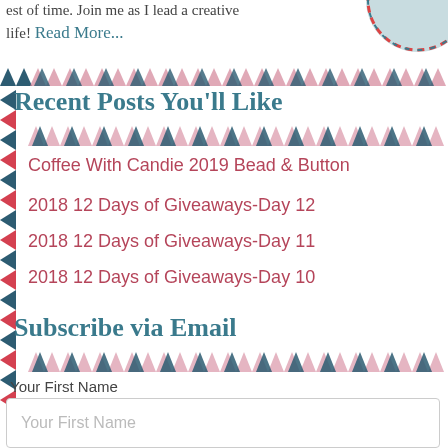est of time. Join me as I lead a creative life! Read More...
Recent Posts You'll Like
Coffee With Candie 2019 Bead & Button
2018 12 Days of Giveaways-Day 12
2018 12 Days of Giveaways-Day 11
2018 12 Days of Giveaways-Day 10
Subscribe via Email
Your First Name
Your First Name
Your Last Name
Your Last Name